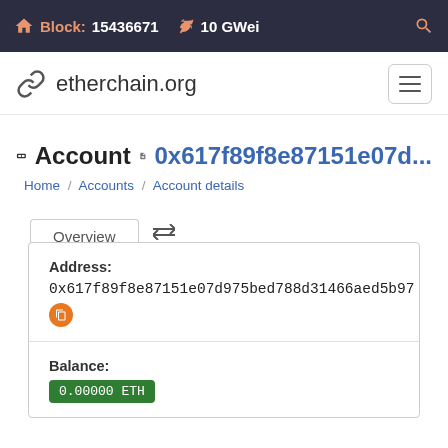Block: 15436671  10 GWei
etherchain.org
Account 0x617f89f8e87151e07d...
Home / Accounts / Account details
Overview
Address: 0x617f89f8e87151e07d975bed788d31466aed5b97
Balance: 0.00000 ETH